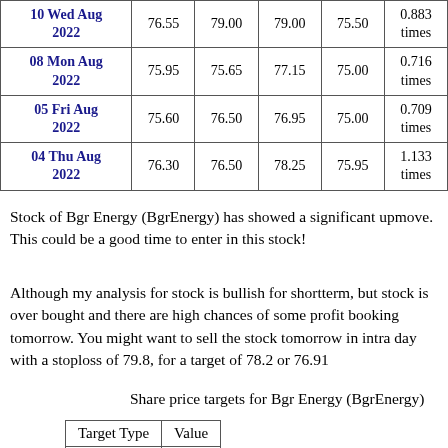| Date | Close | Open | High | Low | Volume |
| --- | --- | --- | --- | --- | --- |
| 10 Wed Aug 2022 | 76.55 | 79.00 | 79.00 | 75.50 | 0.883 times |
| 08 Mon Aug 2022 | 75.95 | 75.65 | 77.15 | 75.00 | 0.716 times |
| 05 Fri Aug 2022 | 75.60 | 76.50 | 76.95 | 75.00 | 0.709 times |
| 04 Thu Aug 2022 | 76.30 | 76.50 | 78.25 | 75.95 | 1.133 times |
Stock of Bgr Energy (BgrEnergy) has showed a significant upmove. This could be a good time to enter in this stock!
Although my analysis for stock is bullish for shortterm, but stock is over bought and there are high chances of some profit booking tomorrow. You might want to sell the stock tomorrow in intra day with a stoploss of 79.8, for a target of 78.2 or 76.91
Share price targets for Bgr Energy (BgrEnergy)
| Target Type | Value |
| --- | --- |